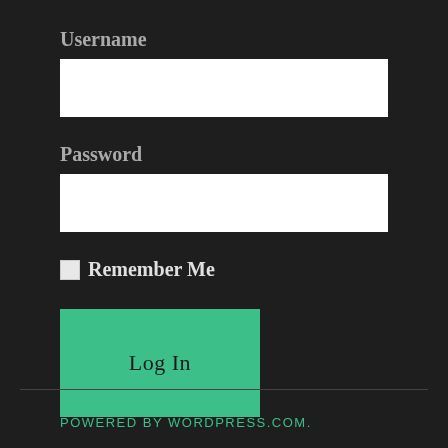Username
[Figure (screenshot): Empty username text input field with white background]
Password
[Figure (screenshot): Empty password text input field with white background]
Remember Me
[Figure (screenshot): Log In button with teal/green background]
POWERED BY WORDPRESS.COM.